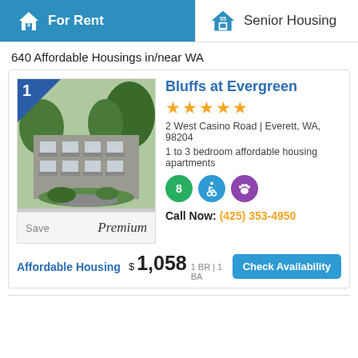For Rent | Senior Housing
640 Affordable Housings in/near WA
Bluffs at Evergreen
★★★★★
2 West Casino Road | Everett, WA, 98204
1 to 3 bedroom affordable housing apartments
Call Now: (425) 353-4950
Affordable Housing  $ 1,058  1 BR | 1 BA  Check Availability